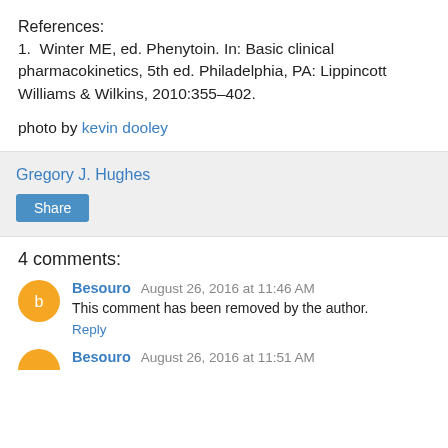References:
1.  Winter ME, ed. Phenytoin. In: Basic clinical pharmacokinetics, 5th ed. Philadelphia, PA: Lippincott Williams & Wilkins, 2010:355–402.
photo by kevin dooley
Gregory J. Hughes
Share
4 comments:
Besouro  August 26, 2016 at 11:46 AM
This comment has been removed by the author.
Reply
Besouro  August 26, 2016 at 11:51 AM